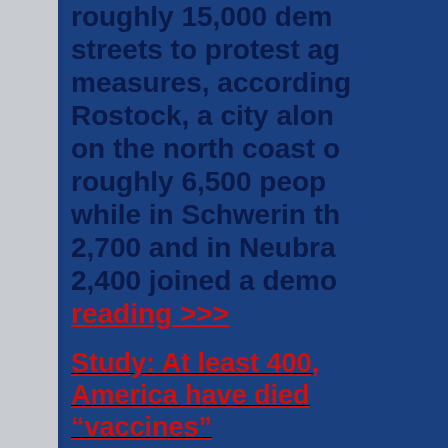roughly 15,000 demonstrators took to the streets to protest against coronavirus measures, according to police reports. Rostock, a city along the Baltic Sea on the north coast of Germany, saw roughly 6,500 people demonstrate, while in Schwerin there were about 2,700 and in Neubrandenburg about 2,400 joined a demonstration. Continue reading >>>
Study: At least 400,000 people in America have died from “vaccines”
Columbia University found that the true